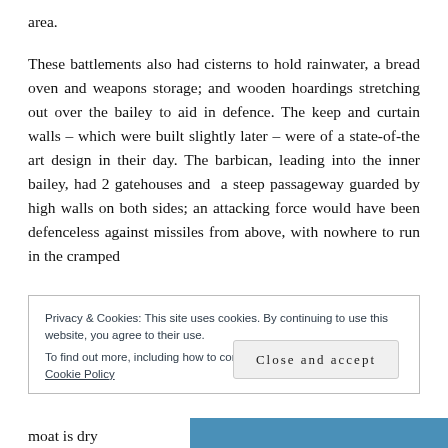area.
These battlements also had cisterns to hold rainwater, a bread oven and weapons storage; and wooden hoardings stretching out over the bailey to aid in defence. The keep and curtain walls – which were built slightly later – were of a state-of-the art design in their day. The barbican, leading into the inner bailey, had 2 gatehouses and a steep passageway guarded by high walls on both sides; an attacking force would have been defenceless against missiles from above, with nowhere to run in the cramped
Privacy & Cookies: This site uses cookies. By continuing to use this website, you agree to their use.
To find out more, including how to control cookies, see here: Our Cookie Policy
Close and accept
moat is dry